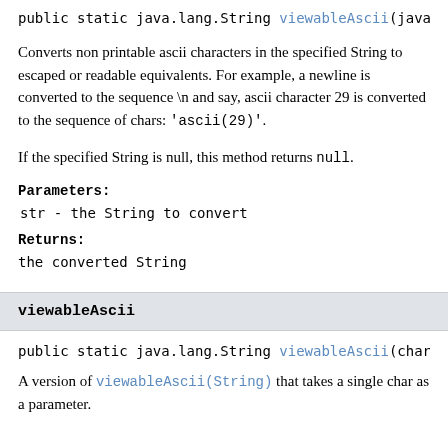public static java.lang.String viewableAscii(java…
Converts non printable ascii characters in the specified String to escaped or readable equivalents. For example, a newline is converted to the sequence \n and say, ascii character 29 is converted to the sequence of chars: 'ascii(29)'.
If the specified String is null, this method returns null.
Parameters:
str - the String to convert
Returns:
the converted String
viewableAscii
public static java.lang.String viewableAscii(char…
A version of viewableAscii(String) that takes a single char as a parameter.